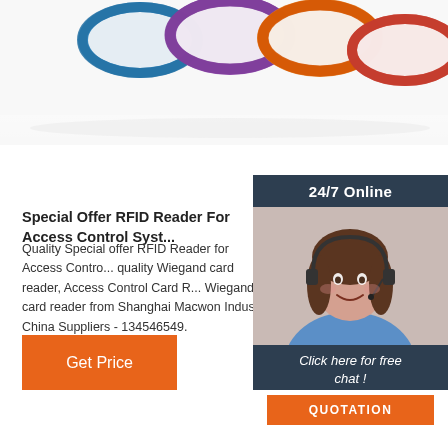[Figure (photo): Colorful silicone RFID wristbands in blue, purple, orange, and red at the top of the page]
[Figure (infographic): Sidebar panel with dark background showing '24/7 Online', a customer service representative photo, 'Click here for free chat!' text, and an orange QUOTATION button]
Special Offer RFID Reader For Access Control Syst...
Quality Special offer RFID Reader for Access Contro... quality Wiegand card reader, Access Control Card R... Wiegand card reader from Shanghai Macwon Indus... China Suppliers - 134546549.
[Figure (other): Orange 'Get Price' button]
[Figure (logo): Orange TOP icon with dots above the letters at bottom right]